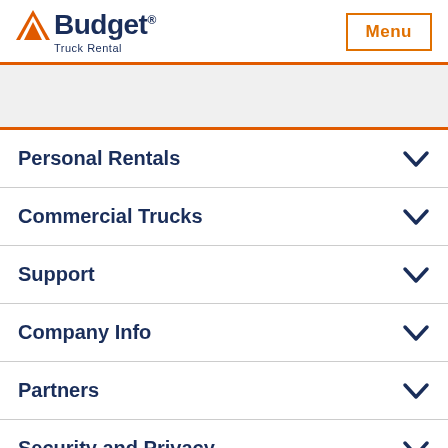[Figure (logo): Budget Truck Rental logo with orange chevron/arrow icon and dark navy text]
Personal Rentals
Commercial Trucks
Support
Company Info
Partners
Security and Privacy